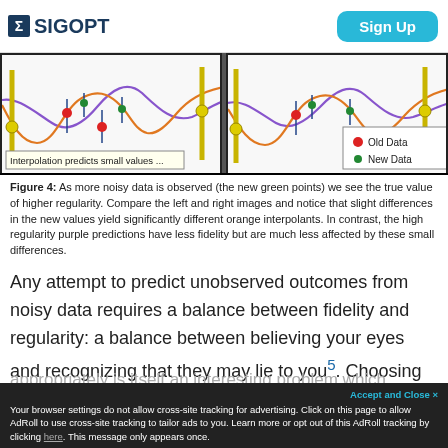SIGOPT   Sign Up
[Figure (illustration): Two side-by-side Gaussian process plots showing interpolation (left) and higher regularity (right) predictions. Left panel labeled 'Interpolation predicts small values ...'. Right panel shows a legend with Old Data (red dot) and New Data (green dot). Both panels show orange and purple curves with yellow markers and vertical error bars.]
Figure 4: As more noisy data is observed (the new green points) we see the true value of higher regularity. Compare the left and right images and notice that slight differences in the new values yield significantly different orange interpolants. In contrast, the high regularity purple predictions have less fidelity but are much less affected by these small differences.
Any attempt to predict unobserved outcomes from noisy data requires a balance between fidelity and regularity: a balance between believing your eyes and recognizing that they may lie to you⁵. Choosing this balance
appropriately is itself an interesting problem which...
Your browser settings do not allow cross-site tracking for advertising. Click on this page to allow AdRoll to use cross-site tracking to tailor ads to you. Learn more or opt out of this AdRoll tracking by clicking here. This message only appears once.